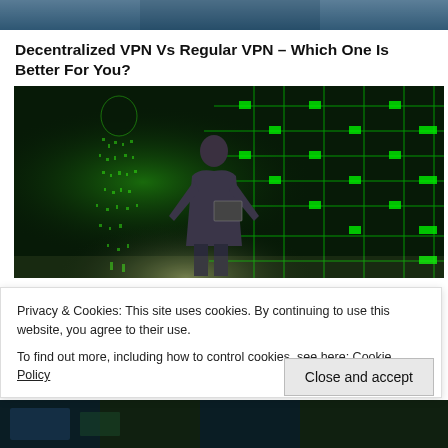[Figure (photo): Top portion of a photo, dark blue/teal toned image at the top of the page]
Decentralized VPN Vs Regular VPN – Which One Is Better For You?
[Figure (photo): A man in a suit holding a laptop, standing in front of a glowing green digital human figure and a green circuit board background]
Privacy & Cookies: This site uses cookies. By continuing to use this website, you agree to their use.
To find out more, including how to control cookies, see here: Cookie Policy
[Figure (photo): Bottom strip of another photo, dark green/teal toned]